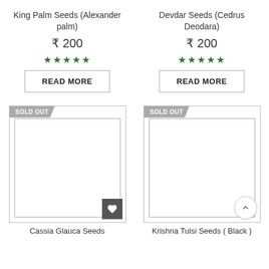King Palm Seeds (Alexander palm)
₹ 200
★★★★★
READ MORE
Devdar Seeds (Cedrus Deodara)
₹ 200
★★★★★
READ MORE
[Figure (photo): Product image placeholder with SOLD OUT badge and wishlist button for Cassia Glauca Seeds]
[Figure (photo): Product image placeholder with SOLD OUT badge and scroll-to-top button for Krishna Tulsi Seeds (Black)]
Cassia Glauca Seeds
Krishna Tulsi Seeds ( Black )